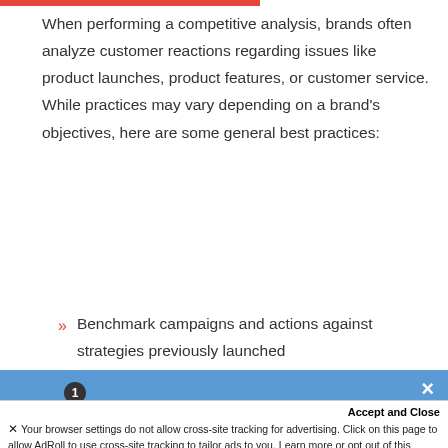When performing a competitive analysis, brands often analyze customer reactions regarding issues like product launches, product features, or customer service. While practices may vary depending on a brand's objectives, here are some general best practices:
Benchmark campaigns and actions against strategies previously launched
[Figure (infographic): Newsletter signup banner with envelope icon, badge showing '1', text 'Enjoying our blog?' and 'Sign up now and receive our newsletter!' on a blue background with a close (x) button]
Accept and Close
✕ Your browser settings do not allow cross-site tracking for advertising. Click on this page to allow AdRoll to use cross-site tracking to tailor ads to you. Learn more or opt out of this AdRoll tracking by clicking here. This message only appears once.